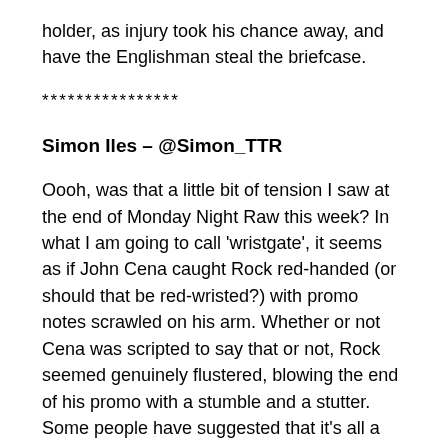holder, as injury took his chance away, and have the Englishman steal the briefcase.
****************
Simon Iles – @Simon_TTR
Oooh, was that a little bit of tension I saw at the end of Monday Night Raw this week? In what I am going to call 'wristgate', it seems as if John Cena caught Rock red-handed (or should that be red-wristed?) with promo notes scrawled on his arm. Whether or not Cena was scripted to say that or not, Rock seemed genuinely flustered, blowing the end of his promo with a stumble and a stutter. Some people have suggested that it's all a work to try and get Cena some more support (at this